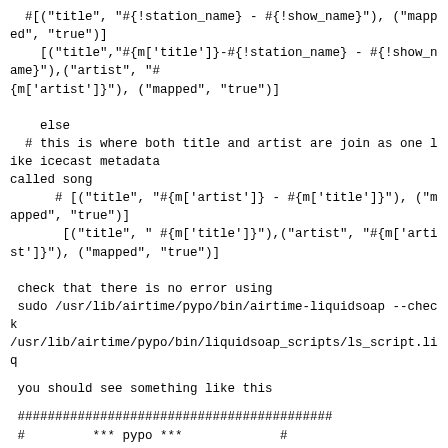#[("title", "#{!station_name} - #{!show_name}"), ("mapped", "true")]
    [("title","#{m['title']}-#{!station_name} - #{!show_name}"),("artist", "#{m['artist']}"), ("mapped", "true")]
else
  # this is where both title and artist are join as one like icecast metadata called song
      # [("title", "#{m['artist']} - #{m['title']}"), ("mapped", "true")]
       [("title", " #{m['title']}") ,("artist", "#{m['artist']}"), ("mapped", "true")]
check that there is no error using
sudo /usr/lib/airtime/pypo/bin/airtime-liquidsoap --check
/usr/lib/airtime/pypo/bin/liquidsoap_scripts/ls_script.liq
you should see something like this
##########################################
#         *** pypo ***             #
#    pypo notification gateway        #
##########################################
If all is okay stop or restart liquidsoap